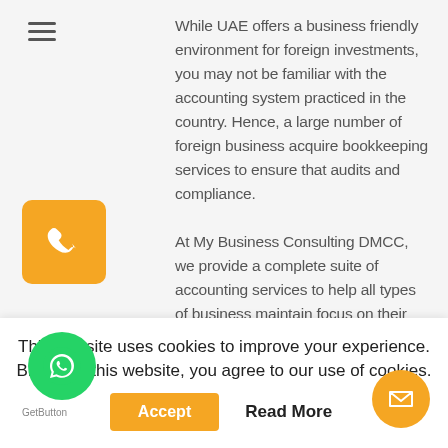[Figure (other): Hamburger menu icon (three horizontal lines)]
While UAE offers a business friendly environment for foreign investments, you may not be familiar with the accounting system practiced in the country. Hence, a large number of foreign business acquire bookkeeping services to ensure that audits and compliance. At My Business Consulting DMCC, we provide a complete suite of accounting services to help all types of business maintain focus on their operations. With more than 12 years of experience in the UAE, our accounts are qualified to provide you with:
[Figure (other): Orange square button with white telephone/phone icon]
This website uses cookies to improve your experience. Browsing this website, you agree to our use of cookies.
[Figure (other): Accept button (orange) and Read More button (bold text) in cookie banner]
[Figure (other): Green WhatsApp circle button with WhatsApp logo; GetButton label below]
[Figure (other): Orange circle button with envelope/email icon at bottom right]